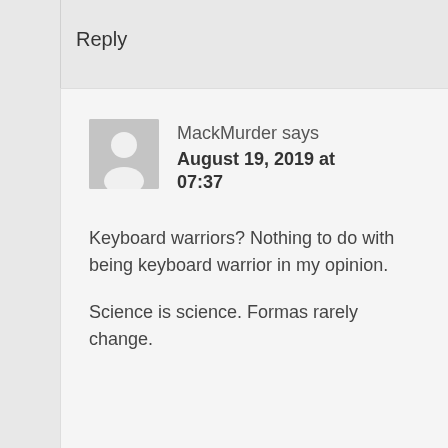Reply
MackMurder says August 19, 2019 at 07:37
Keyboard warriors? Nothing to do with being keyboard warrior in my opinion.
Science is science. Formas rarely change.